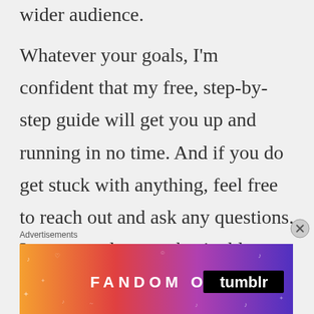wider audience.
Whatever your goals, I'm confident that my free, step-by-step guide will get you up and running in no time. And if you do get stuck with anything, feel free to reach out and ask any questions. I mean...as long as they're blog related. Or if you want my piña colada cheesecake recipe
Advertisements
[Figure (illustration): FANDOM ON tumblr advertisement banner with gradient orange to purple background and decorative musical note and heart doodles]